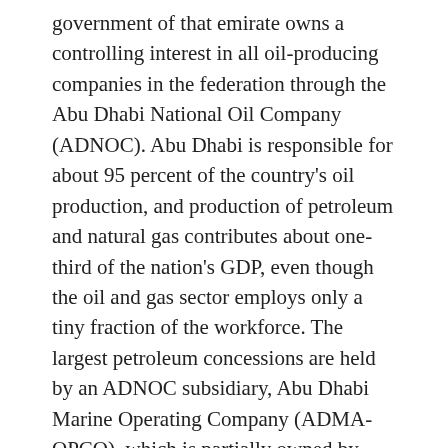government of that emirate owns a controlling interest in all oil-producing companies in the federation through the Abu Dhabi National Oil Company (ADNOC). Abu Dhabi is responsible for about 95 percent of the country's oil production, and production of petroleum and natural gas contributes about one-third of the nation's GDP, even though the oil and gas sector employs only a tiny fraction of the workforce. The largest petroleum concessions are held by an ADNOC subsidiary, Abu Dhabi Marine Operating Company (ADMA-OPCO), which is partially owned by British, French, and Japanese interests. One of the main offshore fields is located in Umm al-Shā'if. Al-Bunduq offshore field is shared with neighbouring Qatar but is operated by ADMA-OPCO. A Japanese consortium operates an offshore rig at Al-Mubarraz, and other offshore concessions are held by American companies. Onshore oil concessions are held by another ADNOC company